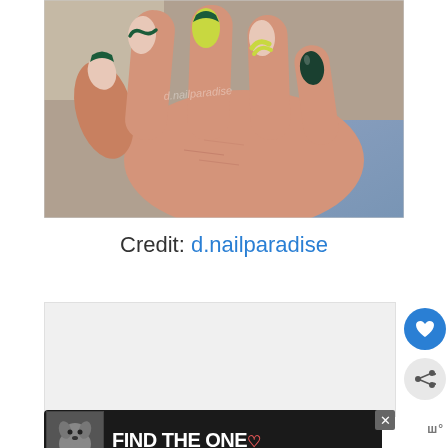[Figure (photo): Close-up photo of a hand with manicured almond-shaped nails featuring a nail art design with dark green tips, yellow-green diagonal brushstrokes, and bare/nude base on some nails, with one fully dark green nail. The hand is positioned against a light background with denim visible.]
Credit: d.nailparadise
[Figure (other): Light gray placeholder box for next image content]
[Figure (other): Advertisement banner with dark background showing a dog photo and text FIND THE ONE with a heart symbol]